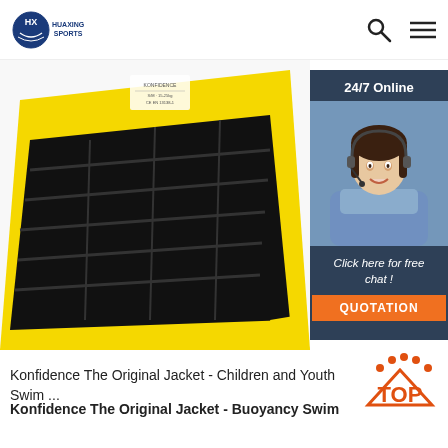HUAXING SPORTS
[Figure (photo): Yellow and black life jacket/buoyancy swim vest product photo, shown at an angle displaying the padded sections and yellow straps. Overlaid with a 24/7 Online customer service chat panel showing a female agent wearing a headset, with text 'Click here for free chat!' and orange QUOTATION button.]
[Figure (logo): TOP badge icon with orange text and dots above]
Konfidence The Original Jacket - Children and Youth Swim ...
Konfidence The Original Jacket - Buoyancy Swim